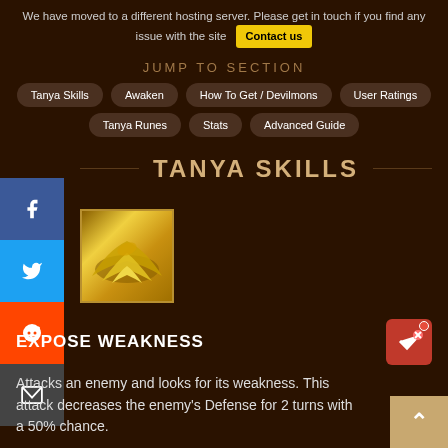We have moved to a different hosting server. Please get in touch if you find any issue with the site  Contact us
JUMP TO SECTION
Tanya Skills
Awaken
How To Get / Devilmons
User Ratings
Tanya Runes
Stats
Advanced Guide
TANYA SKILLS
[Figure (illustration): Yellow/gold skill icon with swirling design]
EXPOSE WEAKNESS
Attacks an enemy and looks for its weakness. This attack decreases the enemy's Defense for 2 turns with a 50% chance.